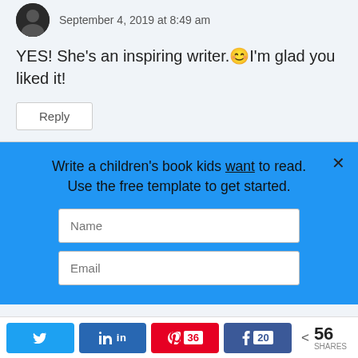September 4, 2019 at 8:49 am
YES! She’s an inspiring writer.😊I’m glad you liked it!
Reply
Write a children’s book kids want to read. Use the free template to get started.
Name
Email
56 SHARES